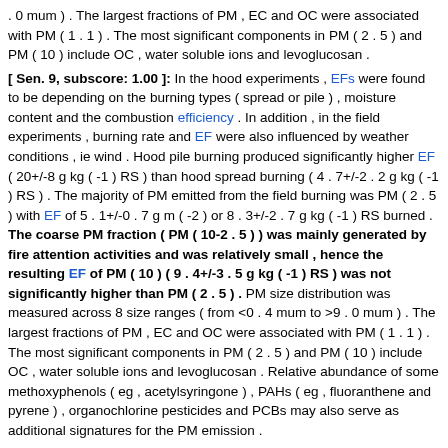. 0 mum ) . The largest fractions of PM , EC and OC were associated with PM ( 1 . 1 ) . The most significant components in PM ( 2 . 5 ) and PM ( 10 ) include OC , water soluble ions and levoglucosan . [ Sen. 9, subscore: 1.00 ]: In the hood experiments , EFs were found to be depending on the burning types ( spread or pile ) , moisture content and the combustion efficiency . In addition , in the field experiments , burning rate and EF were also influenced by weather conditions , ie wind . Hood pile burning produced significantly higher EF ( 20+/-8 g kg ( -1 ) RS ) than hood spread burning ( 4 . 7+/-2 . 2 g kg ( -1 ) RS ) . The majority of PM emitted from the field burning was PM ( 2 . 5 ) with EF of 5 . 1+/-0 . 7 g m ( -2 ) or 8 . 3+/-2 . 7 g kg ( -1 ) RS burned . The coarse PM fraction ( PM ( 10-2 . 5 ) ) was mainly generated by fire attention activities and was relatively small , hence the resulting EF of PM ( 10 ) ( 9 . 4+/-3 . 5 g kg ( -1 ) RS ) was not significantly higher than PM ( 2 . 5 ) . PM size distribution was measured across 8 size ranges ( from <0 . 4 mum to >9 . 0 mum ) . The largest fractions of PM , EC and OC were associated with PM ( 1 . 1 ) . The most significant components in PM ( 2 . 5 ) and PM ( 10 ) include OC , water soluble ions and levoglucosan . Relative abundance of some methoxyphenols ( eg , acetylsyringone ) , PAHs ( eg , fluoranthene and pyrene ) , organochlorine pesticides and PCBs may also serve as additional signatures for the PM emission . [ Sen. 14, subscore: 1.00 ]: PM size distribution was measured across 8 size ranges ( from <0 . 4 mum to >9 . 0 mum ) . The largest fractions of PM , EC and OC were associated with PM ( 1 . 1 ) . The most significant components in PM ( 2 . 5 ) and PM ( 10 ) include OC , water soluble ions and levoglucosan . Relative abundance of some methoxyphenols ( eg , acetylsyringone ) , PAHs ( eg , fluoranthene and pyrene ) , organochlorine pesticides and PCBs may also serve as additional signatures for the PM emission . Presence of these toxic compounds